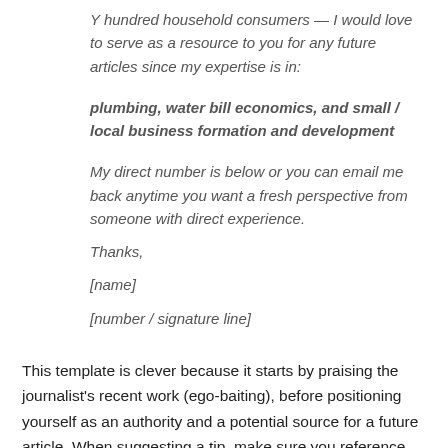Y hundred household consumers — I would love to serve as a resource to you for any future articles since my expertise is in:
plumbing, water bill economics, and small / local business formation and development
My direct number is below or you can email me back anytime you want a fresh perspective from someone with direct experience.
Thanks,
[name]
[number / signature line]
This template is clever because it starts by praising the journalist's recent work (ego-baiting), before positioning yourself as an authority and a potential source for a future article. When suggesting a tip, make sure you reference something interesting or divisive. The email ends with a